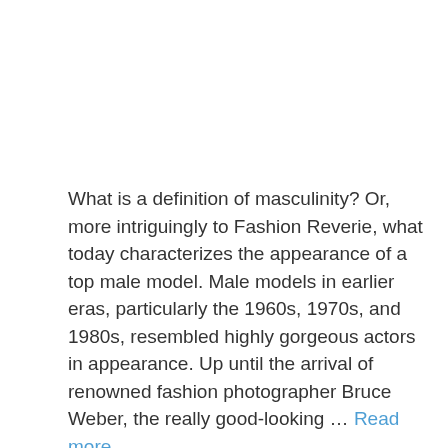What is a definition of masculinity? Or, more intriguingly to Fashion Reverie, what today characterizes the appearance of a top male model. Male models in earlier eras, particularly the 1960s, 1970s, and 1980s, resembled highly gorgeous actors in appearance. Up until the arrival of renowned fashion photographer Bruce Weber, the really good-looking … Read more